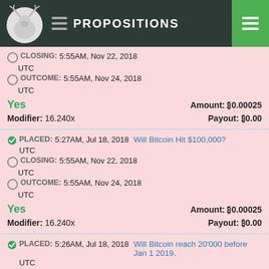PROPOSITIONS
CLOSING: 5:55AM, Nov 22, 2018 UTC
OUTCOME: 5:55AM, Nov 24, 2018 UTC
Yes   Amount: ₿0.00025
Modifier: 16.240x   Payout: ₿0.00
PLACED: 5:27AM, Jul 18, 2018 UTC   Will Bitcoin Hit $100,000?
CLOSING: 5:55AM, Nov 22, 2018 UTC
OUTCOME: 5:55AM, Nov 24, 2018 UTC
Yes   Amount: ₿0.00025
Modifier: 16.240x   Payout: ₿0.00
PLACED: 5:26AM, Jul 18, 2018 UTC   Will Bitcoin reach 20'000 before Jan 1 2019.
CLOSING: 10:00PM, Sep 14, 2018 UTC